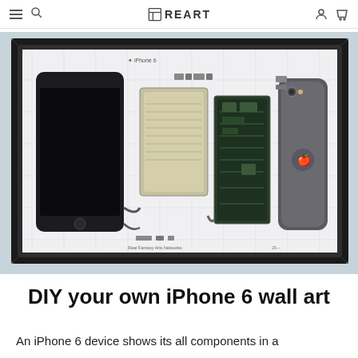REART
[Figure (photo): A framed artwork showing a disassembled iPhone 6 with all its components laid out on a white technical schematic background, displayed in a black shadow box frame on a light gray surface.]
DIY your own iPhone 6 wall art
An iPhone 6 device shows its all components in a